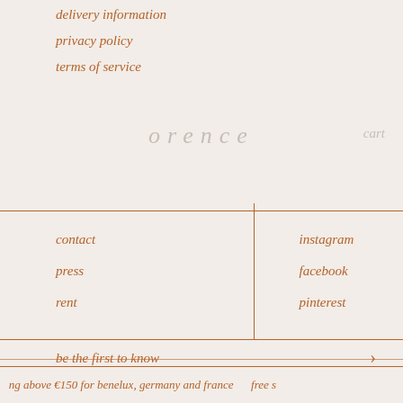delivery information
privacy policy
terms of service
orence   cart
|  |  |
| --- | --- |
| contact | instagram |
| press | facebook |
| rent | pinterest |
be the first to know
ng above €150 for benelux, germany and france   free s